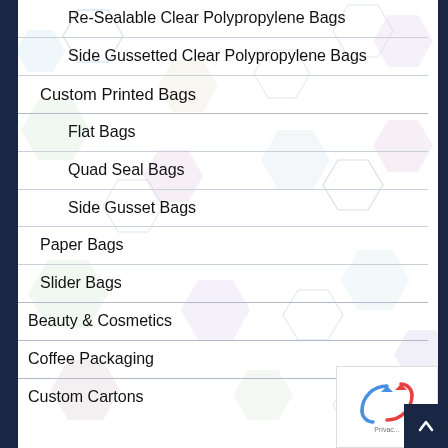Re-Sealable Clear Polypropylene Bags
Side Gussetted Clear Polypropylene Bags
Custom Printed Bags
Flat Bags
Quad Seal Bags
Side Gusset Bags
Paper Bags
Slider Bags
Beauty & Cosmetics
Coffee Packaging
Custom Cartons